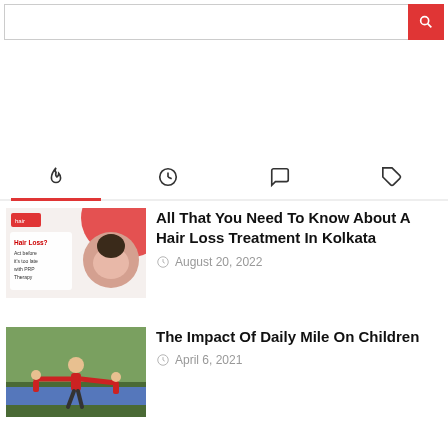[Figure (screenshot): Search bar with red search button]
[Figure (infographic): Tab navigation row with four icons: fire/trending, clock/recent, chat/comments, tag/label. First tab (fire) is active with red underline.]
[Figure (photo): Hair loss treatment advertisement thumbnail with red and white design showing a person and text about Hair Loss and PRP Therapy]
All That You Need To Know About A Hair Loss Treatment In Kolkata
August 20, 2022
[Figure (photo): Child in red jacket with arms outstretched on a blue athletics track outdoors]
The Impact Of Daily Mile On Children
April 6, 2021